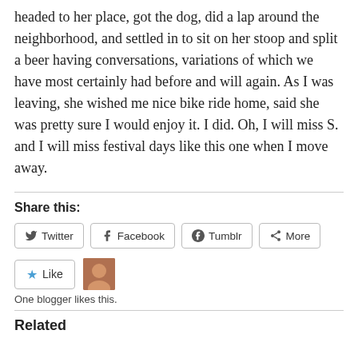headed to her place, got the dog, did a lap around the neighborhood, and settled in to sit on her stoop and split a beer having conversations, variations of which we have most certainly had before and will again. As I was leaving, she wished me nice bike ride home, said she was pretty sure I would enjoy it. I did. Oh, I will miss S. and I will miss festival days like this one when I move away.
Share this:
Twitter  Facebook  Tumblr  More
Like
One blogger likes this.
Related